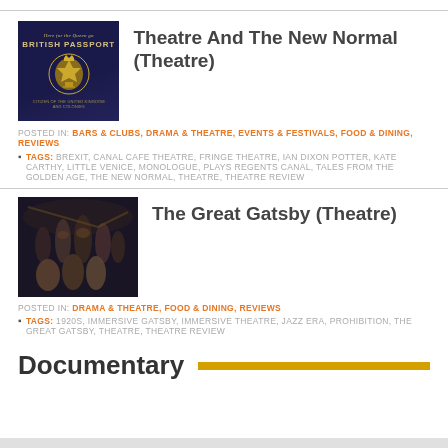[Figure (photo): British Passport cover with royal crest]
Theatre And The New Normal (Theatre)
POSTED IN: BARS & CLUBS, DRAMA & THEATRE, EVENTS & FESTIVALS, FOOD & DINING, REVIEWS
TAGS: BREXIT, CANAL CAFE THEATRE, FRINGE THEATRE, IAN DIXON POTTER, KATE CARTHY, LITTLE VENICE, MONOLOGUE, PLAYS, REGENTS CANAL, TALES FROM THE GOLDEN AGE, THE NEW NORMAL, THEATRE, THEATRE REVIEW
[Figure (photo): Group of theatre performers on stage for The Great Gatsby]
The Great Gatsby (Theatre)
POSTED IN: DRAMA & THEATRE, FOOD & DINING, REVIEWS
TAGS: 1920S, IMMERSIVE GATSBY, IMMERSIVE THEATRE, JAZZ ERA, PROHIBITION, THE GREAT GATSBY, THEATRE, THEATRE REVIEW
Documentary